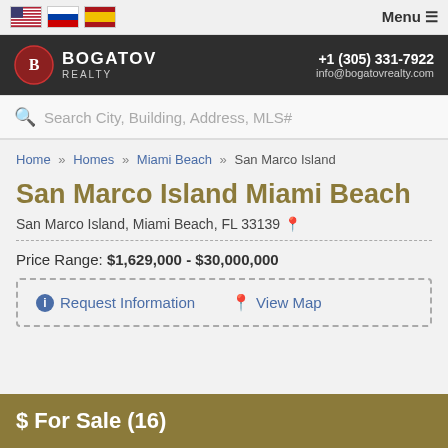Menu
[Figure (logo): Bogatov Realty logo with emblem, company name, phone +1 (305) 331-7922 and email info@bogatovrealty.com]
Search City, Building, Address, MLS#
Home » Homes » Miami Beach » San Marco Island
San Marco Island Miami Beach
San Marco Island, Miami Beach, FL 33139
Price Range: $1,629,000 - $30,000,000
Request Information   View Map
$ For Sale (16)